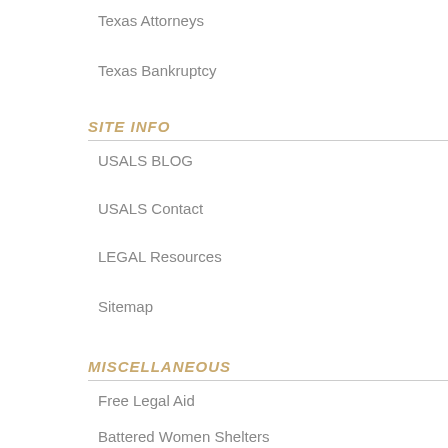Texas Attorneys
Texas Bankruptcy
SITE INFO
USALS BLOG
USALS Contact
LEGAL Resources
Sitemap
MISCELLANEOUS
Free Legal Aid
Battered Women Shelters